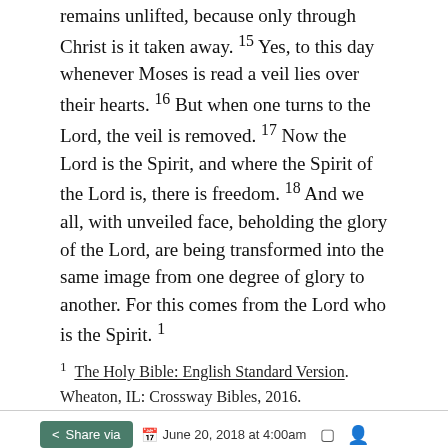remains unlifted, because only through Christ is it taken away. 15 Yes, to this day whenever Moses is read a veil lies over their hearts. 16 But when one turns to the Lord, the veil is removed. 17 Now the Lord is the Spirit, and where the Spirit of the Lord is, there is freedom. 18 And we all, with unveiled face, beholding the glory of the Lord, are being transformed into the same image from one degree of glory to another. For this comes from the Lord who is the Spirit. 1
1 The Holy Bible: English Standard Version. Wheaton, IL: Crossway Bibles, 2016.
+ Weekly Commentary
+ About This Guide
Share via  June 20, 2018 at 4:00am